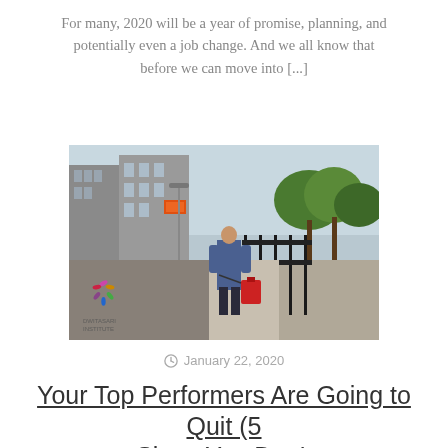For many, 2020 will be a year of promise, planning, and potentially even a job change. And we all know that before we can move into [...]
[Figure (photo): A person in a blue suit walking away on a city sidewalk, pulling a red bag, with urban street scene including buildings and trees in the background. A colorful spiral logo watermark appears in the lower left corner.]
January 22, 2020
Your Top Performers Are Going to Quit (5 Signs You Don't